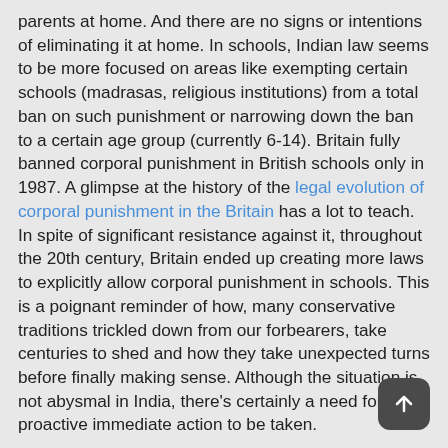parents at home. And there are no signs or intentions of eliminating it at home. In schools, Indian law seems to be more focused on areas like exempting certain schools (madrasas, religious institutions) from a total ban on such punishment or narrowing down the ban to a certain age group (currently 6-14). Britain fully banned corporal punishment in British schools only in 1987. A glimpse at the history of the legal evolution of corporal punishment in the Britain has a lot to teach. In spite of significant resistance against it, throughout the 20th century, Britain ended up creating more laws to explicitly allow corporal punishment in schools. This is a poignant reminder of how, many conservative traditions trickled down from our forbearers, take centuries to shed and how they take unexpected turns before finally making sense. Although the situation is not abysmal in India, there's certainly a need for proactive immediate action to be taken.
[Figure (other): Scroll-to-top button: dark rounded square with upward arrow icon]